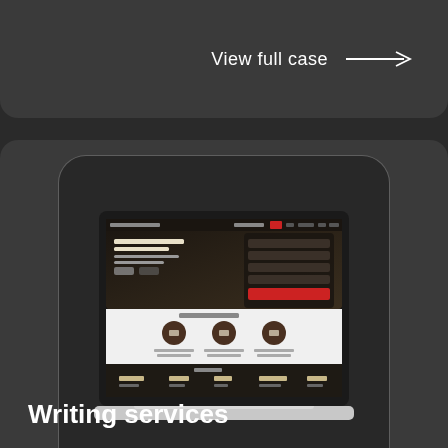View full case →
[Figure (screenshot): A laptop screen showing a writing services website with a dark hero section, a white 'Our advantages' section with three icons, and a dark statistics section below.]
Writing services